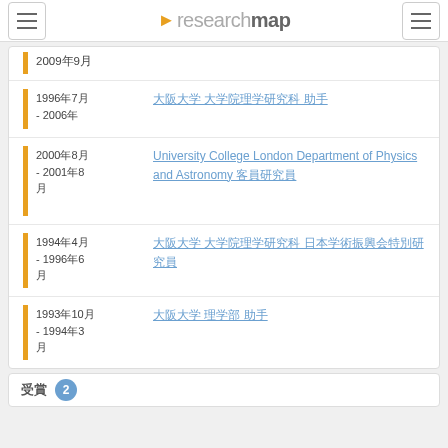researchmap
2009年9月
1996年7月 - 2006年
大阪大学 大学院理学研究科 助手
2000年8月 - 2001年8月
University College London Department of Physics and Astronomy 客員研究員
1994年4月 - 1996年6月
大阪大学 大学院理学研究科 日本学術振興会特別研究員
1993年10月 - 1994年3月
大阪大学 理学部 助手
受賞 2